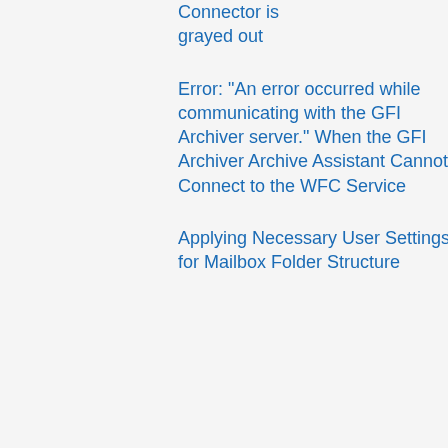Connector is grayed out
Error: "An error occurred while communicating with the GFI Archiver server." When the GFI Archiver Archive Assistant Cannot Connect to the WFC Service
Applying Necessary User Settings for Mailbox Folder Structure